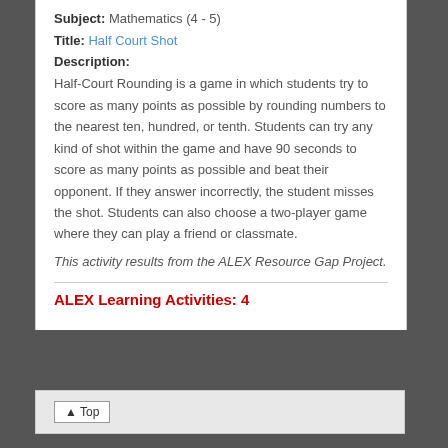Subject: Mathematics (4 - 5)
Title: Half Court Shot
Description:
Half-Court Rounding is a game in which students try to score as many points as possible by rounding numbers to the nearest ten, hundred, or tenth. Students can try any kind of shot within the game and have 90 seconds to score as many points as possible and beat their opponent. If they answer incorrectly, the student misses the shot. Students can also choose a two-player game where they can play a friend or classmate.
This activity results from the ALEX Resource Gap Project.
ALEX Learning Activities: 4
▲ Top